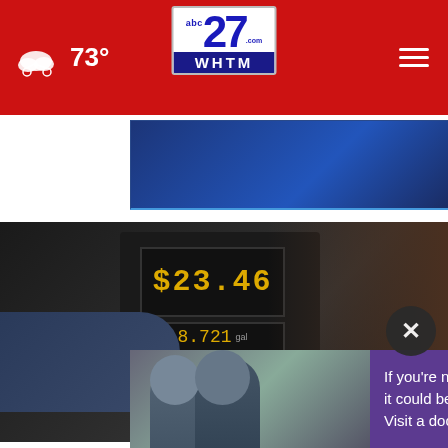abc27 WHTM - 73°
[Figure (screenshot): Advertisement banner with blue gradient background]
[Figure (photo): Woman using a gas pump, close-up of fuel pump display with yellow LED numbers and keypad]
[Figure (photo): Advertisement overlay with photo of two men and text about Alzheimer's awareness]